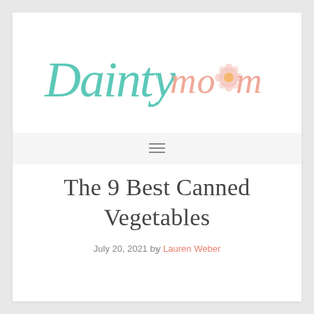[Figure (logo): Dainty Mom blog logo with teal script 'Dainty' and salmon/pink cursive 'mom' text with a flower icon in the center]
[Figure (other): Hamburger/navigation menu icon with three horizontal lines]
The 9 Best Canned Vegetables
July 20, 2021 by Lauren Weber